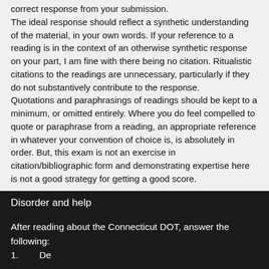correct response from your submission. The ideal response should reflect a synthetic understanding of the material, in your own words. If your reference to a reading is in the context of an otherwise synthetic response on your part, I am fine with there being no citation. Ritualistic citations to the readings are unnecessary, particularly if they do not substantively contribute to the response.
Quotations and paraphrasings of readings should be kept to a minimum, or omitted entirely. Where you do feel compelled to quote or paraphrase from a reading, an appropriate reference in whatever your convention of choice is, is absolutely in order. But, this exam is not an exercise in citation/bibliographic form and demonstrating expertise here is not a good strategy for getting a good score.
APA 7th edition, English, Subjects, Writing Styles
Disorder and help
After reading about the Connecticut DOT, answer the following:
1.      De